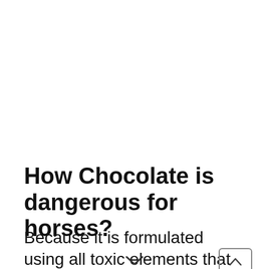How Chocolate is dangerous for horses?
Because it is formulated using all toxic elements that are sugar